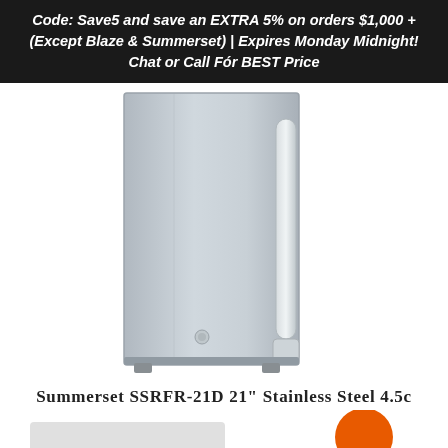Code: Save5 and save an EXTRA 5% on orders $1,000 + (Except Blaze & Summerset) | Expires Monday Midnight! Chat or Call For BEST Price
[Figure (photo): Stainless steel compact refrigerator (Summerset SSRFR-21D) with a vertical handle on the right side and a small logo/lock near the bottom center]
Summerset SSRFR-21D 21" Stainless Steel 4.5c UL Deluxe Compact Refrigerator
$925.00 $1,175.00